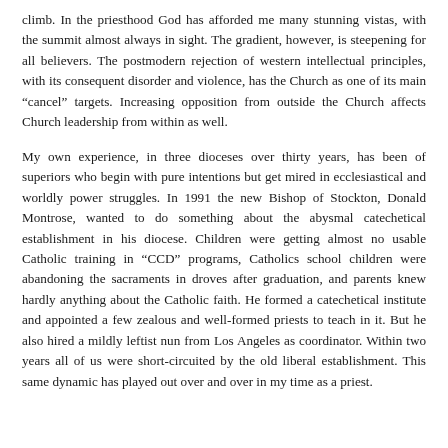climb. In the priesthood God has afforded me many stunning vistas, with the summit almost always in sight. The gradient, however, is steepening for all believers. The postmodern rejection of western intellectual principles, with its consequent disorder and violence, has the Church as one of its main “cancel” targets. Increasing opposition from outside the Church affects Church leadership from within as well.
My own experience, in three dioceses over thirty years, has been of superiors who begin with pure intentions but get mired in ecclesiastical and worldly power struggles. In 1991 the new Bishop of Stockton, Donald Montrose, wanted to do something about the abysmal catechetical establishment in his diocese. Children were getting almost no usable Catholic training in “CCD” programs, Catholics school children were abandoning the sacraments in droves after graduation, and parents knew hardly anything about the Catholic faith. He formed a catechetical institute and appointed a few zealous and well-formed priests to teach in it. But he also hired a mildly leftist nun from Los Angeles as coordinator. Within two years all of us were short-circuited by the old liberal establishment. This same dynamic has played out over and over in my time as a priest.